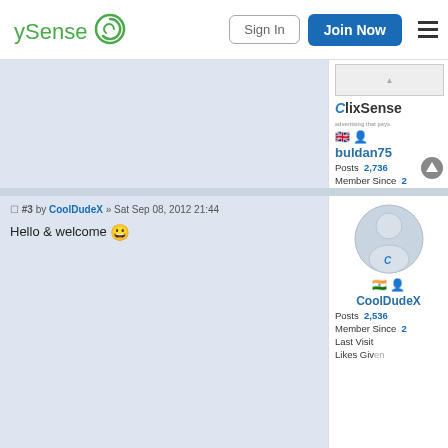[Figure (logo): ySense logo with green spiral icon and text]
Sign In
Join Now
ClixSense
buldan75
Posts 2,736
Member Since
Last Visit
Likes Given
Likes Received
#3 by CoolDudeX » Sat Sep 08, 2012 21:44
Hello & welcome 😀
[Figure (illustration): Default user avatar with ClixSense logo overlay]
CoolDudeX
Posts 2,536
Member Since
Last Visit
Likes Given